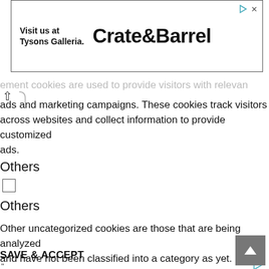[Figure (screenshot): Advertisement banner for Crate & Barrel with text 'Visit us at Tysons Galleria.' on the left and 'Crate&Barrel' logo on the right, with close/play icons in top-right corner]
ement cookies are used to provide visitors with relevant ads and marketing campaigns. These cookies track visitors across websites and collect information to provide customized ads.
Others
☐
Others
Other uncategorized cookies are those that are being analyzed and have not been classified into a category as yet.
SAVE & ACCEPT
[Figure (photo): Partial photo of red and blue vehicle/cars near a building with cloudy sky, partially visible at bottom of page]